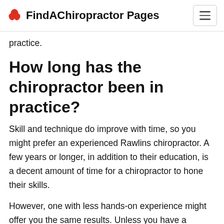FindAChiropractor Pages
practice.
How long has the chiropractor been in practice?
Skill and technique do improve with time, so you might prefer an experienced Rawlins chiropractor. A few years or longer, in addition to their education, is a decent amount of time for a chiropractor to hone their skills.
However, one with less hands-on experience might offer you the same results. Unless you have a specific preference, the length a chiropractor has been in practice might not